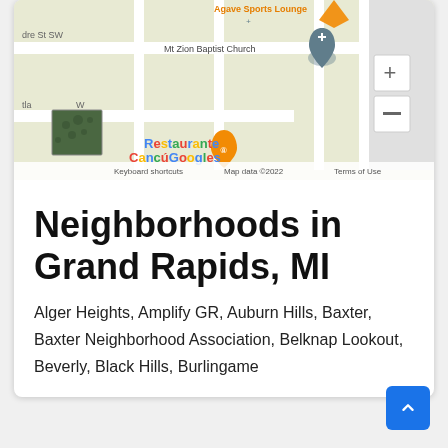[Figure (map): Google Maps screenshot showing streets in Grand Rapids MI area with markers for Agave Sports Lounge, Mt Zion Baptist Church, and Restaurante Cancú, with zoom controls and a satellite thumbnail. Shows 'Keyboard shortcuts', 'Map data ©2022', 'Terms of Use' footer.]
Neighborhoods in Grand Rapids, MI
Alger Heights, Amplify GR, Auburn Hills, Baxter, Baxter Neighborhood Association, Belknap Lookout, Beverly, Black Hills, Burlingame